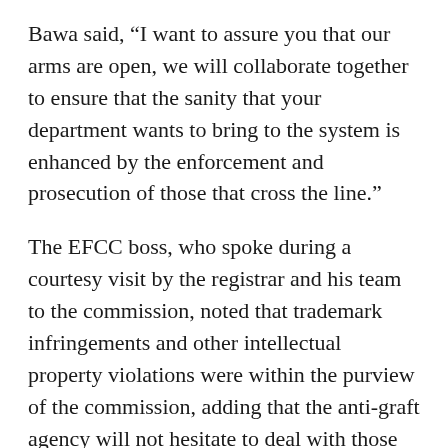Bawa said, “I want to assure you that our arms are open, we will collaborate together to ensure that the sanity that your department wants to bring to the system is enhanced by the enforcement and prosecution of those that cross the line.”
The EFCC boss, who spoke during a courtesy visit by the registrar and his team to the commission, noted that trademark infringements and other intellectual property violations were within the purview of the commission, adding that the anti-graft agency will not hesitate to deal with those who cross the line.
“We have to sit together and agree with one another to do what we have to do together to sanitize our business environment for the betterment of our country. Issues of trademark infringement, intellectual property, copyrights as well as patent